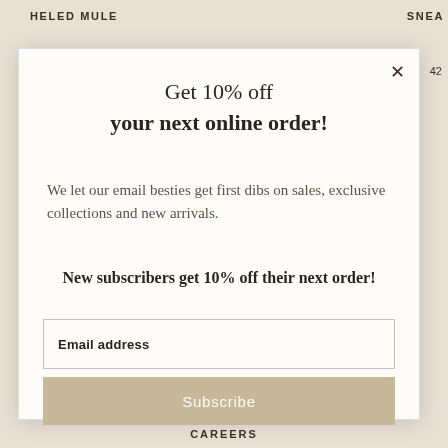HELED MULE
SNEA
42
Get 10% off your next online order!
We let our email besties get first dibs on sales, exclusive collections and new arrivals.
New subscribers get 10% off their next order!
Email address
Subscribe
CAREERS